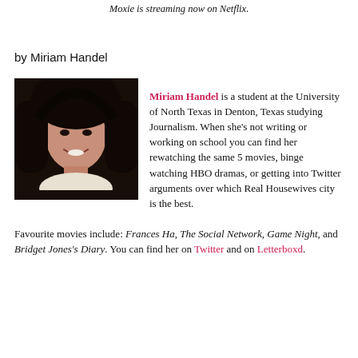Moxie is streaming now on Netflix.
by Miriam Handel
[Figure (photo): Headshot photo of Miriam Handel, a young woman with dark hair, smiling, against a dark background.]
Miriam Handel is a student at the University of North Texas in Denton, Texas studying Journalism. When she’s not writing or working on school you can find her rewatching the same 5 movies, binge watching HBO dramas, or getting into Twitter arguments over which Real Housewives city is the best. Favourite movies include: Frances Ha, The Social Network, Game Night, and Bridget Jones’s Diary. You can find her on Twitter and on Letterboxd.